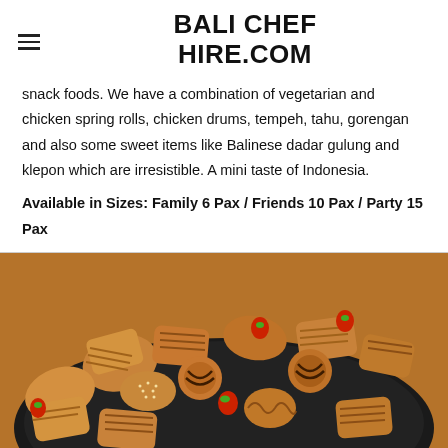BALI CHEF HIRE.COM
snack foods. We have a combination of vegetarian and chicken spring rolls, chicken drums, tempeh, tahu, gorengan and also some sweet items like Balinese dadar gulung and klepon which are irresistible. A mini taste of Indonesia.
Available in Sizes: Family 6 Pax / Friends 10 Pax / Party 15 Pax
[Figure (photo): A large round platter filled with assorted Indonesian snack foods including spring rolls, pastries, and sweet items decorated with strawberries.]